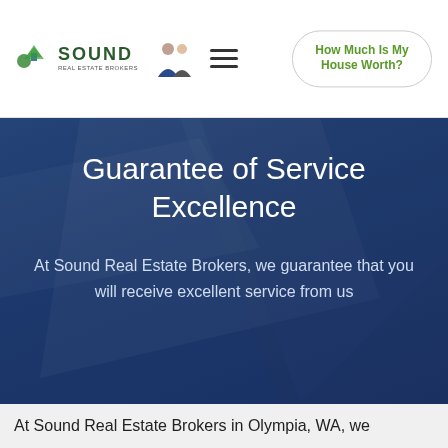[Figure (logo): Sound Real Estate Brokers logo with tree/house icon and two people silhouettes]
[Figure (other): Hamburger menu icon (three horizontal lines)]
How Much Is My House Worth?
Guarantee of Service Excellence
At Sound Real Estate Brokers, we guarantee that you will receive excellent service from us
At Sound Real Estate Brokers in Olympia, WA, we